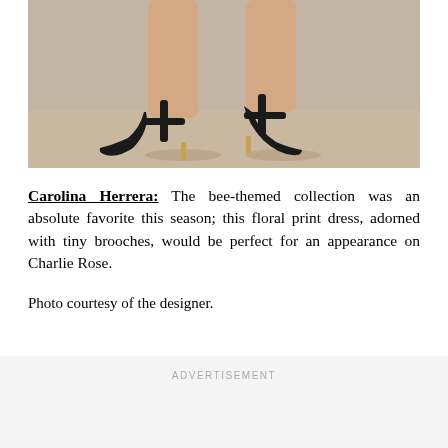[Figure (photo): Close-up photo of a woman's legs from the knees down, wearing black strappy high-heeled shoes against a tan/beige background.]
Carolina Herrera: The bee-themed collection was an absolute favorite this season; this floral print dress, adorned with tiny brooches, would be perfect for an appearance on Charlie Rose.

Photo courtesy of the designer.
ADVERTISEMENT